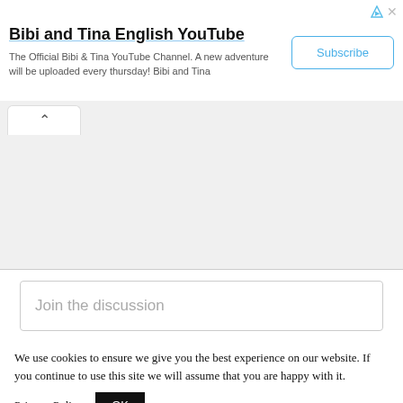[Figure (screenshot): Advertisement banner for Bibi and Tina English YouTube channel with Subscribe button and close/ad icons]
Bibi and Tina English YouTube
The Official Bibi & Tina YouTube Channel. A new adventure will be uploaded every thursday! Bibi and Tina
Subscribe
[Figure (screenshot): Tab with up-caret chevron indicating collapsible section, with gray background area below]
Join the discussion
We use cookies to ensure we give you the best experience on our website. If you continue to use this site we will assume that you are happy with it.
Privacy Policy
OK